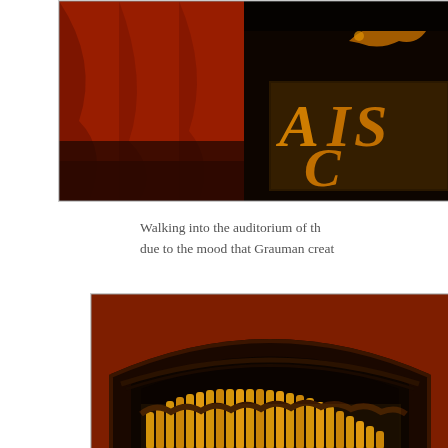[Figure (photo): Interior photo of a theater showing red ornate draping/curtains on the left and a glowing sign with orange/gold letters 'AIS' and 'C' on a dark background, partially cropped on the right.]
Walking into the auditorium of th... due to the mood that Grauman creat...
[Figure (photo): Interior photo of a theater showing ornate dark architectural details with curved arches and decorative golden pipe organ-like elements glowing from below, with reddish-orange walls in the background.]